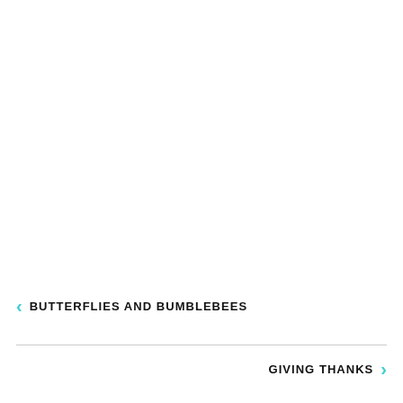< BUTTERFLIES AND BUMBLEBEES
GIVING THANKS >